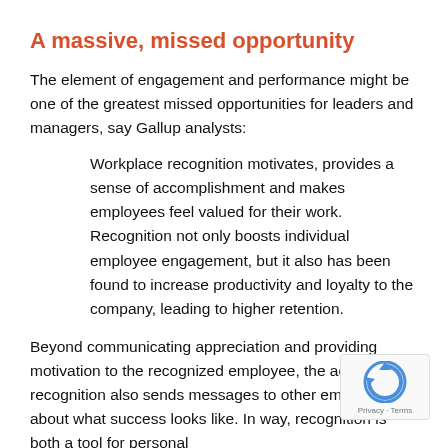A massive, missed opportunity
The element of engagement and performance might be one of the greatest missed opportunities for leaders and managers, say Gallup analysts:
Workplace recognition motivates, provides a sense of accomplishment and makes employees feel valued for their work. Recognition not only boosts individual employee engagement, but it also has been found to increase productivity and loyalty to the company, leading to higher retention.
Beyond communicating appreciation and providing motivation to the recognized employee, the act of recognition also sends messages to other employees about what success looks like. In way, recognition is both a tool for personal